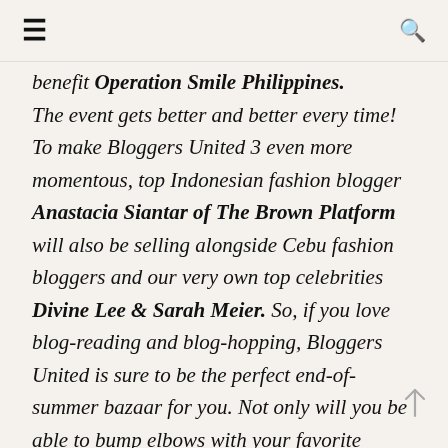≡  🔍
benefit Operation Smile Philippines. The event gets better and better every time! To make Bloggers United 3 even more momentous, top Indonesian fashion blogger Anastacia Siantar of The Brown Platform will also be selling alongside Cebu fashion bloggers and our very own top celebrities Divine Lee & Sarah Meier. So, if you love blog-reading and blog-hopping, Bloggers United is sure to be the perfect end-of-summer bazaar for you. Not only will you be able to bump elbows with your favorite bloggers at th event, but you will also be able to snag